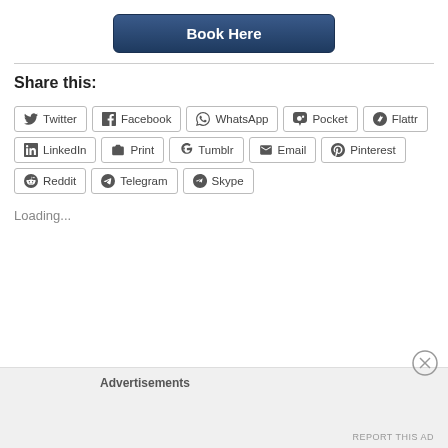[Figure (other): Book Here button — dark navy blue rounded rectangle button with white bold text]
Share this:
[Figure (other): Social sharing buttons grid: Twitter, Facebook, WhatsApp, Pocket, Flattr, LinkedIn, Print, Tumblr, Email, Pinterest, Reddit, Telegram, Skype]
Loading...
Advertisements
REPORT THIS AD